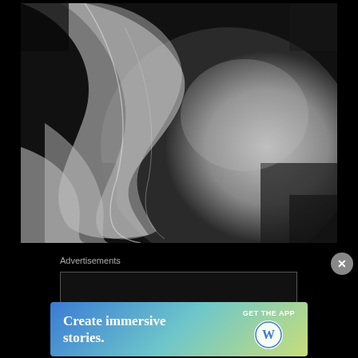[Figure (photo): Black and white close-up photograph of draped fabric, possibly a veil or sheer cloth, showing folds and curves against a dark background, suggestive of a pregnant belly covered by fabric.]
Advertisements
[Figure (screenshot): WordPress advertisement banner with gradient blue-green-yellow background. Text reads: 'Create immersive stories.' with 'GET THE APP' call to action and WordPress logo circle on the right.]